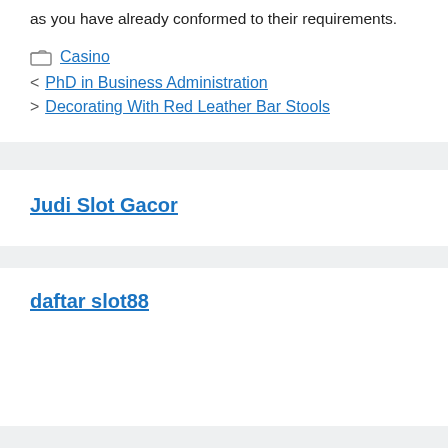as you have already conformed to their requirements.
Casino
< PhD in Business Administration
> Decorating With Red Leather Bar Stools
Judi Slot Gacor
daftar slot88